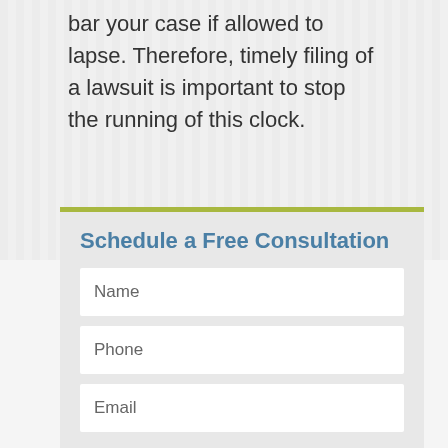bar your case if allowed to lapse. Therefore, timely filing of a lawsuit is important to stop the running of this clock.
Schedule a Free Consultation
Name
Phone
Email